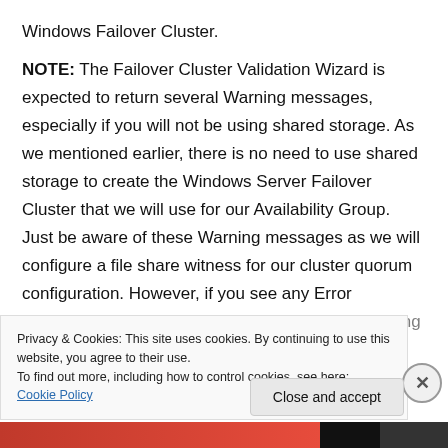Windows Failover Cluster. NOTE: The Failover Cluster Validation Wizard is expected to return several Warning messages, especially if you will not be using shared storage. As we mentioned earlier, there is no need to use shared storage to create the Windows Server Failover Cluster that we will use for our Availability Group. Just be aware of these Warning messages as we will configure a file share witness for our cluster quorum configuration. However, if you see any Error messages, you need to fix those first prior to creating
Privacy & Cookies: This site uses cookies. By continuing to use this website, you agree to their use. To find out more, including how to control cookies, see here: Cookie Policy
Close and accept